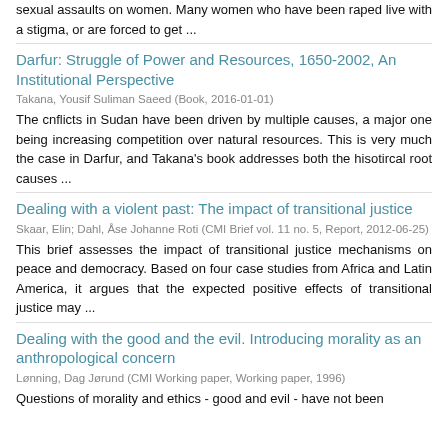sexual assaults on women. Many women who have been raped live with a stigma, or are forced to get ...
Darfur: Struggle of Power and Resources, 1650-2002, An Institutional Perspective
Takana, Yousif Suliman Saeed (Book, 2016-01-01)
The cnflicts in Sudan have been driven by multiple causes, a major one being increasing competition over natural resources. This is very much the case in Darfur, and Takana's book addresses both the hisotircal root causes ...
Dealing with a violent past: The impact of transitional justice
Skaar, Elin; Dahl, Åse Johanne Roti (CMI Brief vol. 11 no. 5, Report, 2012-06-25)
This brief assesses the impact of transitional justice mechanisms on peace and democracy. Based on four case studies from Africa and Latin America, it argues that the expected positive effects of transitional justice may ...
Dealing with the good and the evil. Introducing morality as an anthropological concern
Lønning, Dag Jørund (CMI Working paper, Working paper, 1996)
Questions of morality and ethics - good and evil - have not been